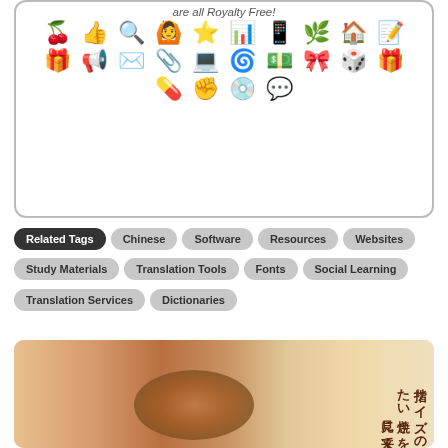are all Royalty Free!
[Figure (illustration): Grid of royalty-free clip art icons including cherries, thumbs up, magnifying glass, jumping figure, star, bar chart, phone, leaves, house, note, gift, speaker, envelope, binder clip, tablet, swirl, crumpled paper, gift ribbon, dice, present, pill, fist, disk, speech bubble icons]
Related Tags
Chinese
Software
Resources
Websites
Study Materials
Translation Tools
Fonts
Social Learning
Translation Services
Dictionaries
[Figure (photo): Photo of a finger-sized taiyaki (Japanese fish-shaped pastry) held between fingers, with Japanese text overlay reading 指サイズのたい焼きを見に来て]